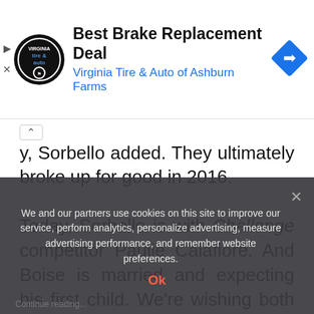[Figure (other): Advertisement banner for Virginia Tire & Auto of Ashburn Farms showing logo, title 'Best Brake Replacement Deal', subtitle in blue, and a blue diamond navigation icon on the right.]
y, Sorbello added. They ultimately broke up for good in 2016.
Today, Sorbello is with Challenge competitor Paulie Calafiore. And Boise is married and expecting his first child. We're wishing both Sorbello and Boise the best as they continue down separate paths.
We and our partners use cookies on this site to improve our service, perform analytics, personalize advertising, measure advertising performance, and remember website preferences.
Ok